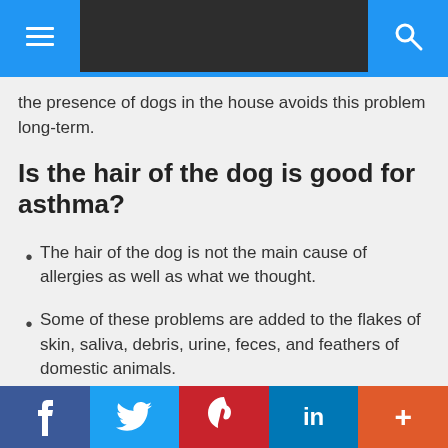Navigation bar with menu and search icons
the presence of dogs in the house avoids this problem long-term.
Is the hair of the dog is good for asthma?
The hair of the dog is not the main cause of allergies as well as what we thought.
Some of these problems are added to the flakes of skin, saliva, debris, urine, feces, and feathers of domestic animals.
The hair of the animal is not
Social share buttons: Facebook, Twitter, Pinterest, LinkedIn, More